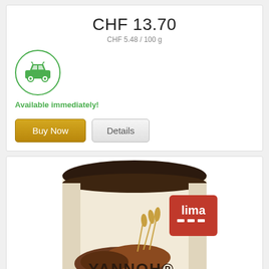CHF 13.70
CHF 5.48 / 100 g
[Figure (illustration): Green car icon inside a green circle, indicating product pickup or availability]
Available immediately!
Buy Now  Details
[Figure (photo): Photo of a Lima Yannoh Original product canister with a dark brown lid, cream-colored label showing mounds of grain powder, wheat stalks, and the lima logo in a red square. The text YANNOH ORIGINAL is visible at the bottom.]